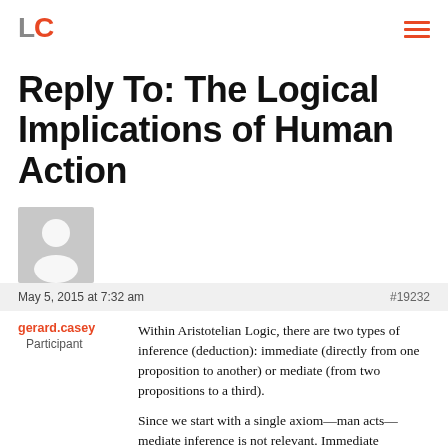LC
Reply To: The Logical Implications of Human Action
May 5, 2015 at 7:32 am  #19232
gerard.casey
Participant
Within Aristotelian Logic, there are two types of inference (deduction): immediate (directly from one proposition to another) or mediate (from two propositions to a third).

Since we start with a single axiom—man acts—mediate inference is not relevant. Immediate